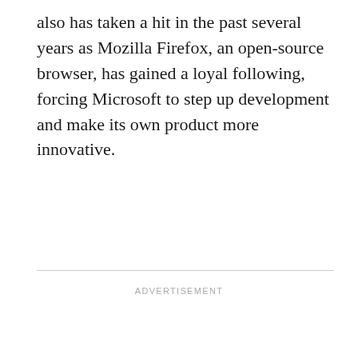also has taken a hit in the past several years as Mozilla Firefox, an open-source browser, has gained a loyal following, forcing Microsoft to step up development and make its own product more innovative.
ADVERTISEMENT